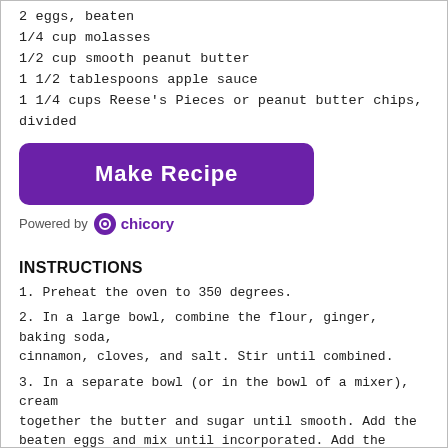2 eggs, beaten
1/4 cup molasses
1/2 cup smooth peanut butter
1 1/2 tablespoons apple sauce
1 1/4 cups Reese's Pieces or peanut butter chips, divided
[Figure (other): Purple 'Make Recipe' button with rounded corners]
Powered by chicory
INSTRUCTIONS
1. Preheat the oven to 350 degrees.
2. In a large bowl, combine the flour, ginger, baking soda, cinnamon, cloves, and salt. Stir until combined.
3. In a separate bowl (or in the bowl of a mixer), cream together the butter and sugar until smooth. Add the beaten eggs and mix until incorporated. Add the flour mixture and mix until incorporated. Stir in the molasses, peanut butter, and applesauce. Gently fold in 1 cup Reese's Pieces by hand, setting aside 1/4 cup.